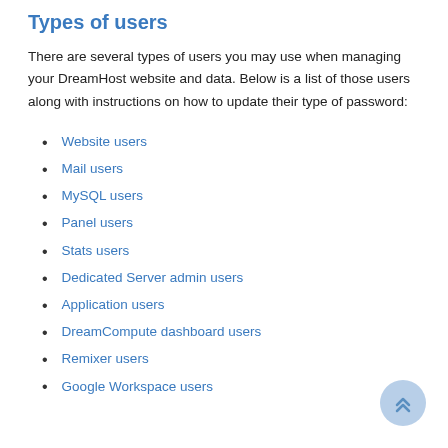Types of users
There are several types of users you may use when managing your DreamHost website and data. Below is a list of those users along with instructions on how to update their type of password:
Website users
Mail users
MySQL users
Panel users
Stats users
Dedicated Server admin users
Application users
DreamCompute dashboard users
Remixer users
Google Workspace users